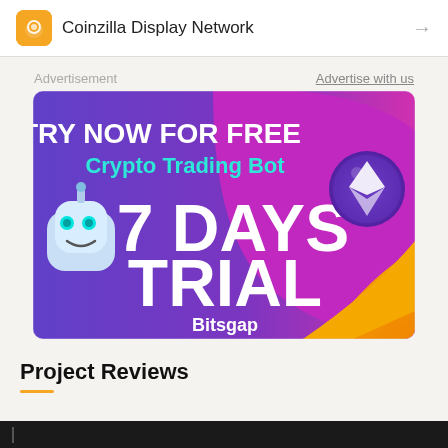Coinzilla Display Network
Advertisement   Advertise with us
[Figure (illustration): Bitsgap crypto trading bot advertisement banner. Purple and pink gradient background with the text 'TRY NOW FOR FREE' in white bold letters, 'Crypto Trading Bot' in cyan/teal letters, '7 DAYS TRIAL' in large white bold letters, and 'Bitsgap' in white. Features a robot character on the left and an Ethereum coin graphic on the right, with an orange/yellow swoosh shape in the lower right.]
Project Reviews